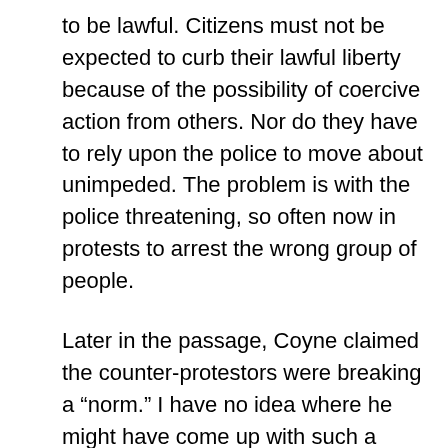to be lawful. Citizens must not be expected to curb their lawful liberty because of the possibility of coercive action from others. Nor do they have to rely upon the police to move about unimpeded. The problem is with the police threatening, so often now in protests to arrest the wrong group of people.
Later in the passage, Coyne claimed the counter-protestors were breaking a “norm.” I have no idea where he might have come up with such a norm. It is contrary, as the Fleming case demonstrates, to our liberties and freedoms.
It is possible that there might have been confrontation at the time, if the counter-protestors became coercive. But the obvious conclusion to draw is that a